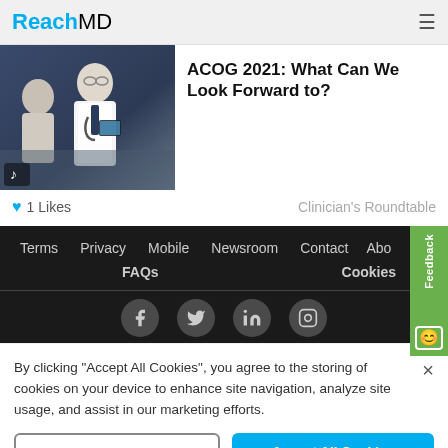ReachMD
[Figure (photo): Doctor in white coat with stethoscope looking at a tablet, with an elderly patient nearby]
ACOG 2021: What Can We Look Forward to?
1 Likes   Clinician's Roundtable
Terms  Privacy  Mobile  Newsroom  Contact  About  FAQs  Cookies
By clicking "Accept All Cookies", you agree to the storing of cookies on your device to enhance site navigation, analyze site usage, and assist in our marketing efforts.
Cookies Settings   Accept All Cookies